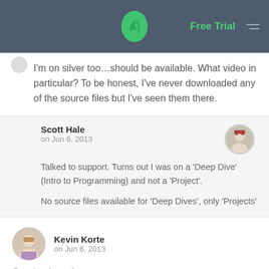Free Trial
I'm on silver too...should be available. What video in particular? To be honest, I've never downloaded any of the source files but I've seen them there.
Scott Hale
on Jun 6, 2013
Talked to support. Turns out I was on a 'Deep Dive' (Intro to Programming) and not a 'Project'.
No source files available for 'Deep Dives', only 'Projects'
Kevin Korte
on Jun 6, 2013
Good to know!